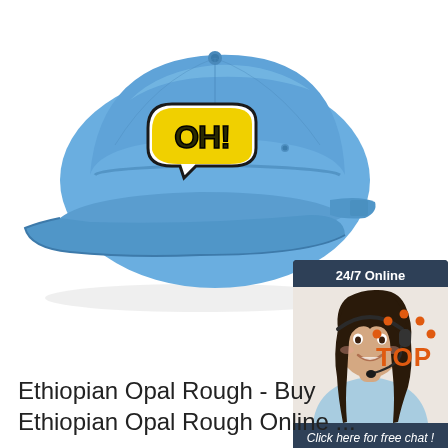[Figure (photo): A light blue baseball cap with a comic-book style 'OH!' speech bubble embroidered patch on the front, shown on a white background.]
[Figure (infographic): 24/7 Online chat widget with a smiling female customer service agent wearing a headset, dark navy background, text 'Click here for free chat!' and an orange 'QUOTATION' button.]
[Figure (logo): TOP logo with orange dots arranged in an arc above the word TOP in orange bold text.]
Ethiopian Opal Rough - Buy Ethiopian Opal Rough Online ...